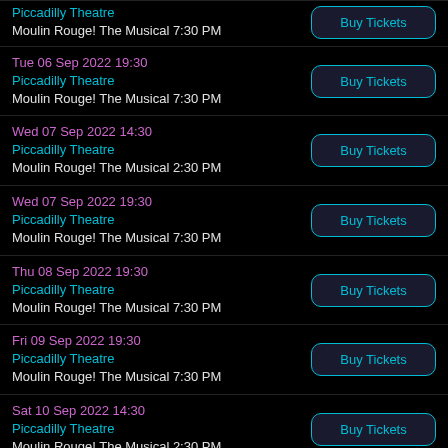Piccadilly Theatre
Moulin Rouge! The Musical 7:30 PM
Tue 06 Sep 2022 19:30
Piccadilly Theatre
Moulin Rouge! The Musical 7:30 PM
Wed 07 Sep 2022 14:30
Piccadilly Theatre
Moulin Rouge! The Musical 2:30 PM
Wed 07 Sep 2022 19:30
Piccadilly Theatre
Moulin Rouge! The Musical 7:30 PM
Thu 08 Sep 2022 19:30
Piccadilly Theatre
Moulin Rouge! The Musical 7:30 PM
Fri 09 Sep 2022 19:30
Piccadilly Theatre
Moulin Rouge! The Musical 7:30 PM
Sat 10 Sep 2022 14:30
Piccadilly Theatre
Moulin Rouge! The Musical 2:30 PM